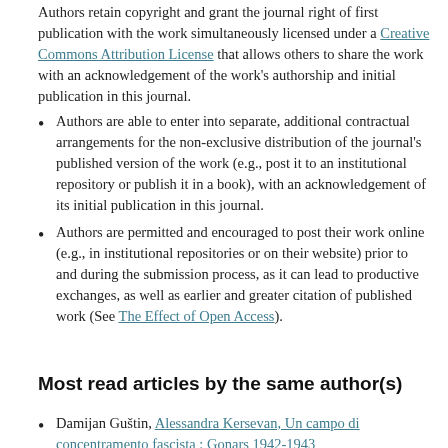Authors retain copyright and grant the journal right of first publication with the work simultaneously licensed under a Creative Commons Attribution License that allows others to share the work with an acknowledgement of the work's authorship and initial publication in this journal.
Authors are able to enter into separate, additional contractual arrangements for the non-exclusive distribution of the journal's published version of the work (e.g., post it to an institutional repository or publish it in a book), with an acknowledgement of its initial publication in this journal.
Authors are permitted and encouraged to post their work online (e.g., in institutional repositories or on their website) prior to and during the submission process, as it can lead to productive exchanges, as well as earlier and greater citation of published work (See The Effect of Open Access).
Most read articles by the same author(s)
Damijan Guštin, Alessandra Kersevan, Un campo di concentramento fascista : Gonars 1942-1943